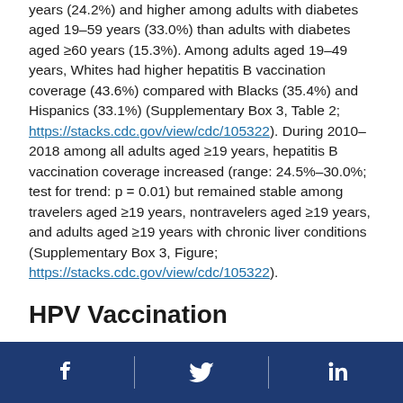years (24.2%) and higher among adults with diabetes aged 19–59 years (33.0%) than adults with diabetes aged ≥60 years (15.3%). Among adults aged 19–49 years, Whites had higher hepatitis B vaccination coverage (43.6%) compared with Blacks (35.4%) and Hispanics (33.1%) (Supplementary Box 3, Table 2; https://stacks.cdc.gov/view/cdc/105322). During 2010–2018 among all adults aged ≥19 years, hepatitis B vaccination coverage increased (range: 24.5%–30.0%; test for trend: p = 0.01) but remained stable among travelers aged ≥19 years, nontravelers aged ≥19 years, and adults aged ≥19 years with chronic liver conditions (Supplementary Box 3, Figure; https://stacks.cdc.gov/view/cdc/105322).
HPV Vaccination
Social media icons: Facebook, Twitter, LinkedIn